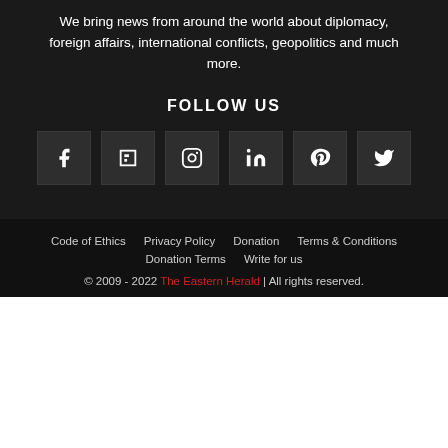We bring news from around the world about diplomacy, foreign affairs, international conflicts, geopolitics and much more.
FOLLOW US
[Figure (infographic): Six social media icon buttons: Facebook, Flipboard, Instagram, LinkedIn, Pinterest, Twitter — white icons on dark grey square backgrounds]
Code of Ethics   Privacy Policy   Donation   Terms & Conditions   Donation Terms   Write for us   © 2009 - 2022 The Eastern Herald | All rights reserved.